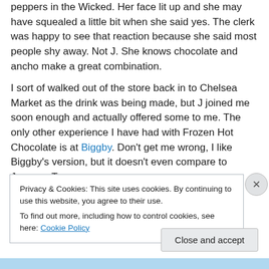peppers in the Wicked. Her face lit up and she may have squealed a little bit when she said yes. The clerk was happy to see that reaction because she said most people shy away. Not J. She knows chocolate and ancho make a great combination.
I sort of walked out of the store back in to Chelsea Market as the drink was being made, but J joined me soon enough and actually offered some to me. The only other experience I have had with Frozen Hot Chocolate is at Biggby. Don't get me wrong, I like Biggby's version, but it doesn't even compare to Jacques Torres
Privacy & Cookies: This site uses cookies. By continuing to use this website, you agree to their use.
To find out more, including how to control cookies, see here: Cookie Policy
Close and accept